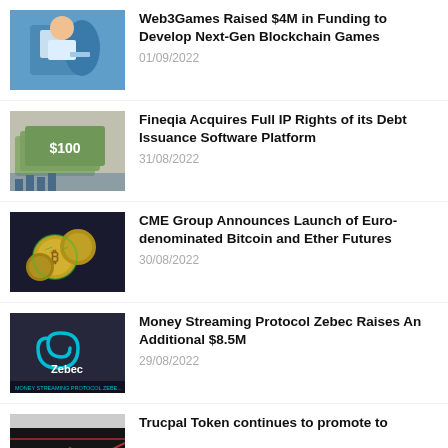[Figure (photo): Person holding a tablet device]
Web3Games Raised $4M in Funding to Develop Next-Gen Blockchain Games
01/09/2022
[Figure (photo): Stack of US dollar bills with financial chart]
Fineqia Acquires Full IP Rights of its Debt Issuance Software Platform
31/08/2022
[Figure (photo): Gold cryptocurrency coins on dark background]
CME Group Announces Launch of Euro-denominated Bitcoin and Ether Futures
30/08/2022
[Figure (photo): Zebec money streaming protocol promotional image]
Money Streaming Protocol Zebec Raises An Additional $8.5M
29/08/2022
[Figure (photo): Cryptocurrency chart image]
Trucpal Token continues to promote to